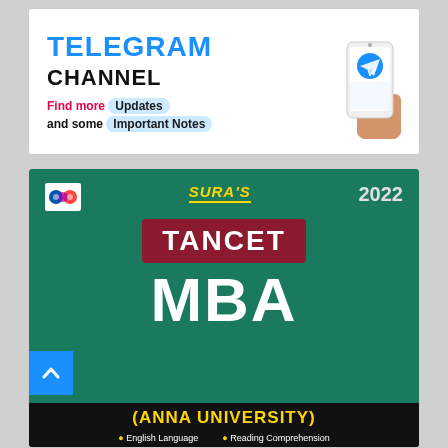[Figure (infographic): Telegram Channel promotional banner with phone image. Text: TELEGRAM CHANNEL, Find more Updates and some Important Notes]
[Figure (illustration): Book cover: SURA'S 2022 TANCET MBA (ANNA UNIVERSITY) - English Language, Reading Comprehension. Green background with maroon TANCET banner, large white MBA text, yellow Anna University text.]